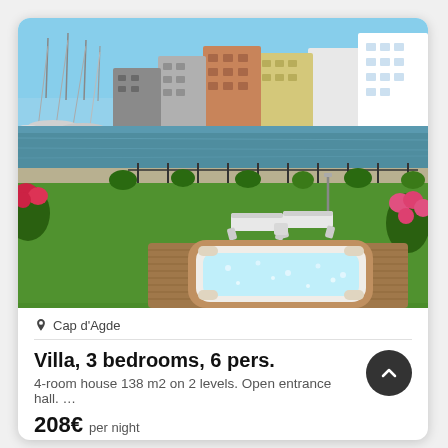[Figure (photo): Aerial view of a marina/canal with colorful buildings on the far shore, green lawn in foreground with lounge chairs, and a hot tub/jacuzzi on a wooden deck in the foreground. Flowers and shrubs border the scene.]
Cap d'Agde
Villa, 3 bedrooms, 6 pers.
4-room house 138 m2 on 2 levels. Open entrance hall. …
208€ per night